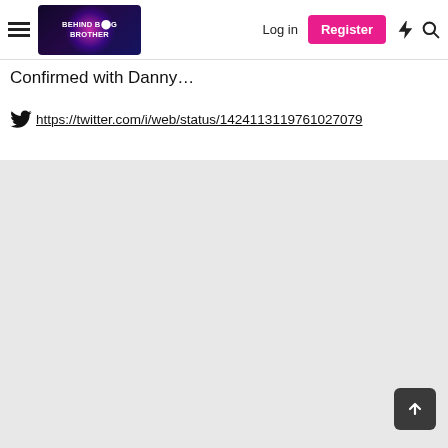Behind Big Brother — Log in | Register
Confirmed with Danny…
https://twitter.com/i/web/status/1424113119761027079
[Figure (other): Gray background area with no visible content, and a back-to-top arrow button in the bottom right corner]